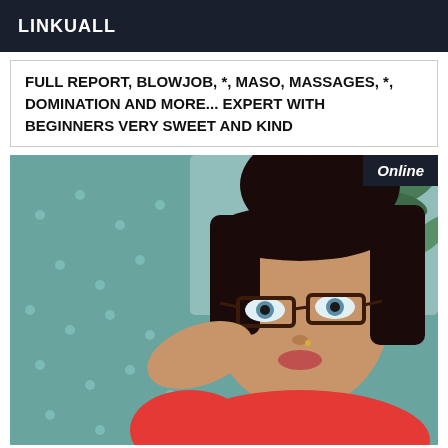LINKUALL
FULL REPORT, BLOWJOB, *, MASO, MASSAGES, *, DOMINATION AND MORE... EXPERT WITH BEGINNERS VERY SWEET AND KIND
[Figure (photo): Photo of a woman with dark hair in a bun, wearing glasses and a red top, lying on a bed with a teal polka-dot blanket. An 'Online' badge is shown in the top right corner of the photo.]